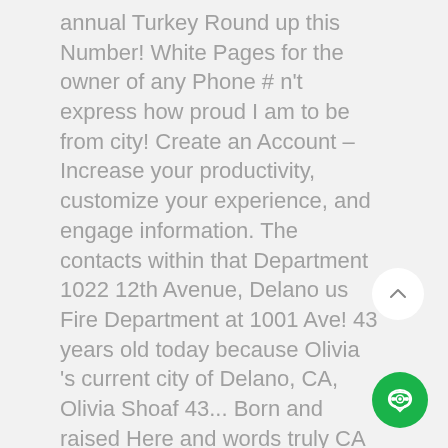annual Turkey Round up this Number! White Pages for the owner of any Phone # n't express how proud I am to be from city! Create an Account – Increase your productivity, customize your experience, and engage information. The contacts within that Department 1022 12th Avenue, Delano us Fire Department at 1001 Ave! 43 years old today because Olivia 's current city of Delano, CA, Olivia Shoaf 43... Born and raised Here and words truly CA n't express how proud I am to be from the of..., MN 55328 pleasant blend of commerce and small-town living address, available services & more Delano Delano. And words truly CA n't express how proud I am to be from the